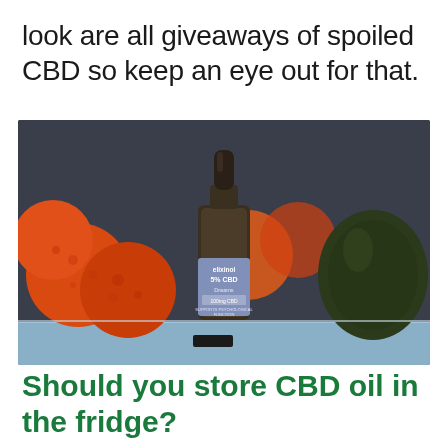look are all giveaways of spoiled CBD so keep an eye out for that.
[Figure (photo): A small dark glass dropper bottle labeled 'elixinol 5% CBD Dreams 100mg CBD' sitting on a shelf in a refrigerator, with oranges/tangerines and an avocado visible in the background.]
Should you store CBD oil in the fridge?